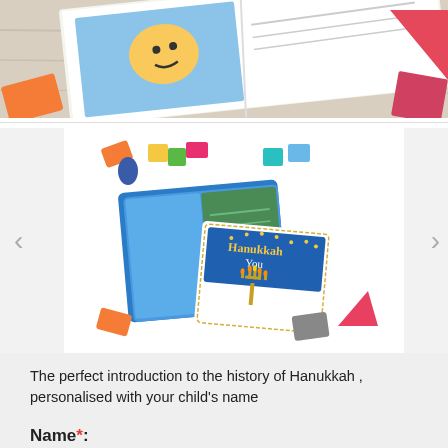[Figure (photo): Open children's book on a wooden table with colorful toy blocks scattered around — orange, pink, and other colors visible]
[Figure (photo): Hanukkah personalized children's book product photo: book cover showing 'Hanukkah You' title with menorah illustration, alongside open book pages, with colorful toy blocks scattered around on white background]
The perfect introduction to the history of Hanukkah , personalised with your child's name
Name*: